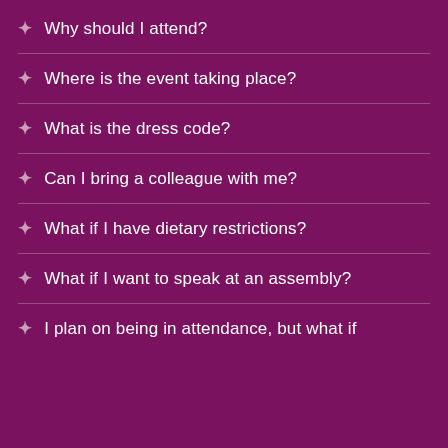Why should I attend?
Where is the event taking place?
What is the dress code?
Can I bring a colleague with me?
What if I have dietary restrictions?
What if I want to speak at an assembly?
I plan on being in attendance, but what if